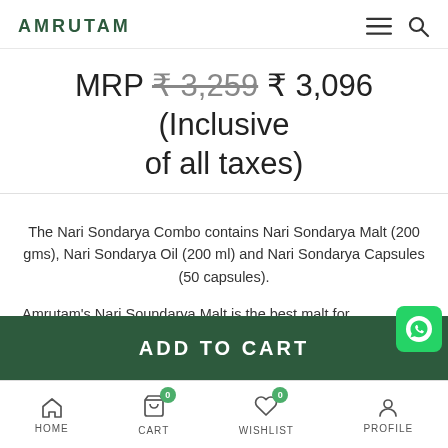AMRUTAM
MRP ₹ 3,259 ₹ 3,096 (Inclusive of all taxes)
The Nari Sondarya Combo contains Nari Sondarya Malt (200 gms), Nari Sondarya Oil (200 ml) and Nari Sondarya Capsules (50 capsules).
Amrutam's Nari Soundarya Malt is the best malt for
ADD TO CART
HOME   CART 0   WISHLIST 0   PROFILE